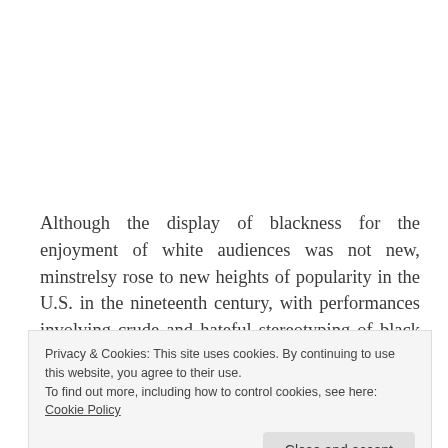Although the display of blackness for the enjoyment of white audiences was not new, minstrelsy rose to new heights of popularity in the U.S. in the nineteenth century, with performances involving crude and hateful stereotyping of black people.  Typically their faces were
Privacy & Cookies: This site uses cookies. By continuing to use this website, you agree to their use.
To find out more, including how to control cookies, see here: Cookie Policy
Close and accept
comically, with a jolly attitude, frequently dancing,